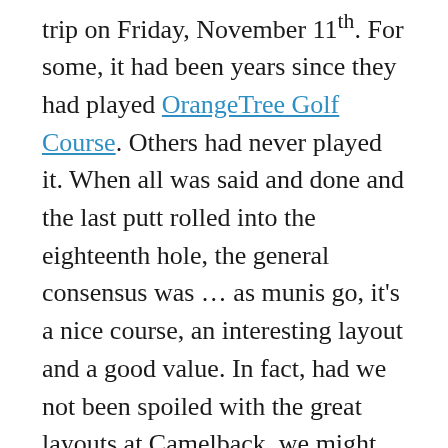trip on Friday, November 11th. For some, it had been years since they had played OrangeTree Golf Course. Others had never played it. When all was said and done and the last putt rolled into the eighteenth hole, the general consensus was … as munis go, it's a nice course, an interesting layout and a good value. In fact, had we not been spoiled with the great layouts at Camelback, we might even play it again. On a scale of zero to one hundred, OrangeTree averaged a score of sixty-five from the golfers in the group with individual ratings running from fifty-five to seventy-five. To be fair, it is not a muni, but it definitely has a muni feel. That's not necessarily bad, but don't expect to come away feeling like you just played an exclusive private club.